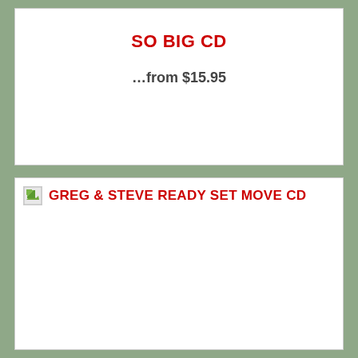SO BIG CD
…from $15.95
[Figure (other): Product listing card for GREG & STEVE READY SET MOVE CD with a broken image placeholder icon and red title text]
GREG & STEVE READY SET MOVE CD